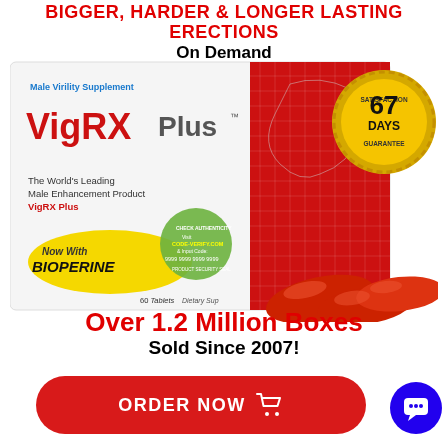BIGGER, HARDER & LONGER LASTING ERECTIONS On Demand
[Figure (photo): VigRX Plus product box with red and white packaging showing 'Male Virility Supplement', 'The World's Leading Male Enhancement Product VigRX Plus', 'Now With BIOPERINE', '60 Tablets', a green verification seal with code '9999 9999 9999 9999', a gold '67 DAYS SATISFACTION GUARANTEE' badge, and three red oval tablets/capsules in front of the box.]
Over 1.2 Million Boxes Sold Since 2007!
ORDER NOW